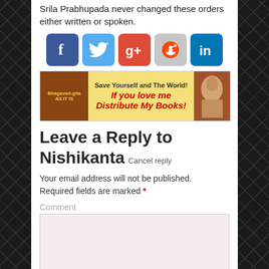Srila Prabhupada never changed these orders either written or spoken.
[Figure (screenshot): Social media sharing icons: Facebook, Twitter, Google+, Reddit, LinkedIn]
[Figure (infographic): Banner: Bhagavad-gita book cover on left, yellow background with text 'Save Yourself and The World! If you love me Distribute My Books!' in red bold italic, photo of Prabhupada on right]
Leave a Reply to Nishikanta Cancel reply
Your email address will not be published. Required fields are marked *
Comment